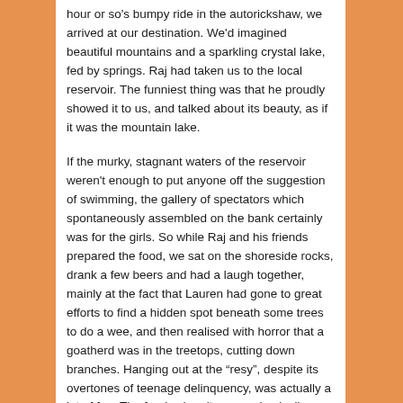hour or so's bumpy ride in the autorickshaw, we arrived at our destination. We'd imagined beautiful mountains and a sparkling crystal lake, fed by springs. Raj had taken us to the local reservoir. The funniest thing was that he proudly showed it to us, and talked about its beauty, as if it was the mountain lake. If the murky, stagnant waters of the reservoir weren't enough to put anyone off the suggestion of swimming, the gallery of spectators which spontaneously assembled on the bank certainly was for the girls. So while Raj and his friends prepared the food, we sat on the shoreside rocks, drank a few beers and had a laugh together, mainly at the fact that Lauren had gone to great efforts to find a hidden spot beneath some trees to do a wee, and then realised with horror that a goatherd was in the treetops, cutting down branches. Hanging out at the “resy”, despite its overtones of teenage delinquency, was actually a lot of fun. The food, when it came – basically a spicy aubergine-based mush with chapattis – was delicious. In the back of the autorickshaw, on the return journey, Romeo declared his undying love to Emily and suffered